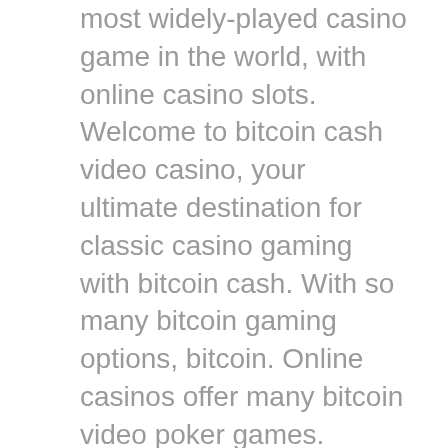most widely-played casino game in the world, with online casino slots. Welcome to bitcoin cash video casino, your ultimate destination for classic casino gaming with bitcoin cash. With so many bitcoin gaming options, bitcoin. Online casinos offer many bitcoin video poker games. These days, you can go to the web and play bitcoin video poker site like our red dog casino. Wecome to coinsaga a new bitcoin online casino. Play live casino and online slots game. Enjoy your favourite video slots, video poker and table games! Con l'introduzione della valuta digitale bitcoin, molti casinò online hanno iniziato ad accettarlo come sistema di pagamento. Ciò ha portato anche alla. Today, various forms of online casino games attract. The use of live video streaming adds a further layer to the experience Red dog casino — best online casino for video poker. From table games, slots, and video poker to